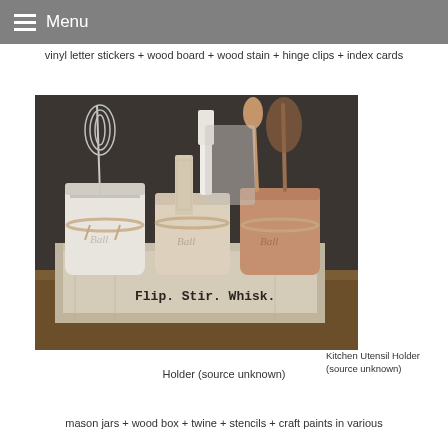☰ Menu
vinyl letter stickers + wood board + wood stain + hinge clips + index cards
[Figure (photo): Rustic kitchen utensil holder made from three painted Ball mason jars (white, cream, and terracotta) arranged in a distressed white wooden box labeled 'Flip. Stir. Whisk.' with twine tied around each jar, containing kitchen utensils including a whisk, spatula, wooden spoon, and brush.]
Kitchen Utensil Holder (source unknown)
mason jars + wood box + twine + stencils + craft paints in various